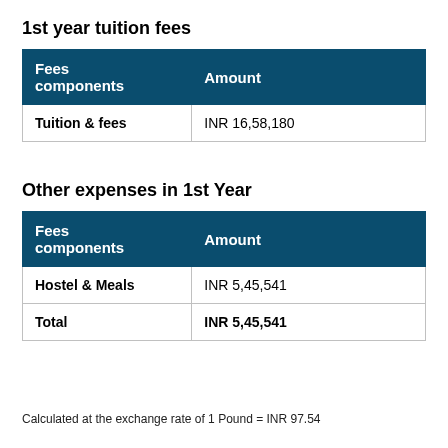1st year tuition fees
| Fees components | Amount |
| --- | --- |
| Tuition & fees | INR 16,58,180 |
Other expenses in 1st Year
| Fees components | Amount |
| --- | --- |
| Hostel & Meals | INR 5,45,541 |
| Total | INR 5,45,541 |
Calculated at the exchange rate of 1 Pound = INR 97.54